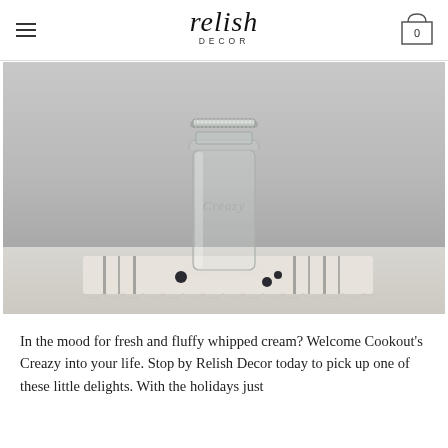relish DECOR
[Figure (photo): A clear glass mason jar labeled 'Creazy' with a silver metal lid, sitting on a striped cloth napkin on a white wooden surface. A few dark berries are scattered nearby. The background is a plain light gray wall.]
In the mood for fresh and fluffy whipped cream? Welcome Cookout's Creazy into your life. Stop by Relish Decor today to pick up one of these little delights. With the holidays just